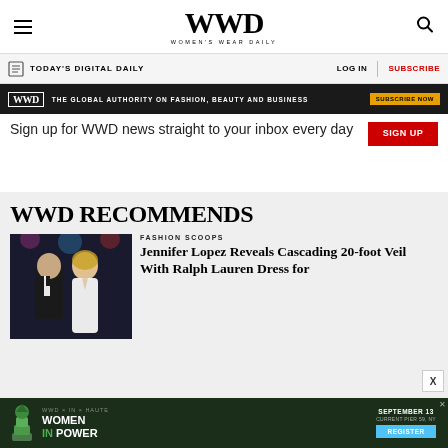WWD WOMEN'S WEAR DAILY
TODAY'S DIGITAL DAILY  LOG IN  SUBSCRIBE
[Figure (infographic): Dark banner ad: WWD logo badge, text 'THE GLOBAL AUTHORITY ON FASHION, BEAUTY AND BUSINESS', orange 'SUBSCRIBE NOW' button]
Sign up for WWD news straight to your inbox every day
WWD RECOMMENDS
FASHION SCOOPS
Jennifer Lopez Reveals Cascading 20-foot Veil With Ralph Lauren Dress for
[Figure (photo): Photo of couple at formal event, man in tuxedo, woman in white dress]
[Figure (infographic): Bottom ad banner: Women In Power event, September 13, Current Pier 59 NY, Register button]